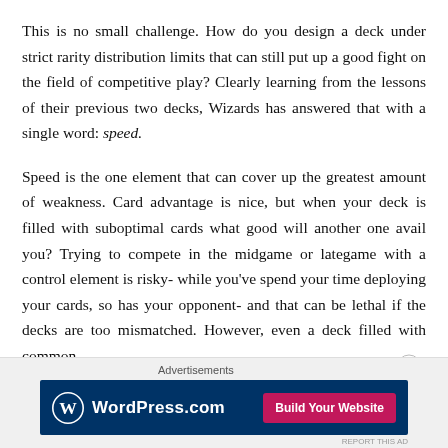This is no small challenge. How do you design a deck under strict rarity distribution limits that can still put up a good fight on the field of competitive play? Clearly learning from the lessons of their previous two decks, Wizards has answered that with a single word: speed.
Speed is the one element that can cover up the greatest amount of weakness. Card advantage is nice, but when your deck is filled with suboptimal cards what good will another one avail you? Trying to compete in the midgame or lategame with a control element is risky- while you've spend your time deploying your cards, so has your opponent- and that can be lethal if the decks are too mismatched. However, even a deck filled with common
[Figure (other): WordPress.com advertisement banner with logo and 'Build Your Website' button, on dark navy background. Includes close button and 'Advertisements' label above.]